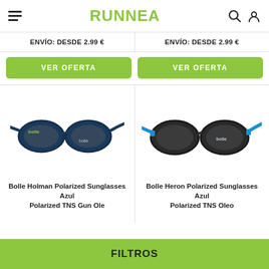RUNNEA
ENVÍO: DESDE 2.99 €
ENVÍO: DESDE 2.99 €
VER OFERTA
VER OFERTA
[Figure (photo): Bollé Holman Polarized Sunglasses – navy blue frame with dark lenses]
[Figure (photo): Bollé Heron Polarized Sunglasses – dark gray frame with blue accents and dark lenses]
Bolle Holman Polarized Sunglasses Azul Polarized TNS Gun Ole
Bolle Heron Polarized Sunglasses Azul Polarized TNS Oleo
FILTROS